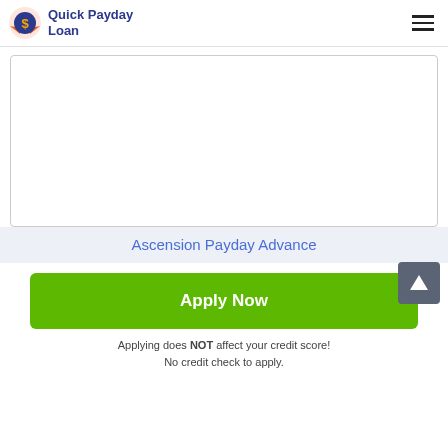Quick Payday Loan
[Figure (other): Empty white content placeholder box with light gray border and rounded corners]
Ascension Payday Advance
Apply Now
Applying does NOT affect your credit score! No credit check to apply.